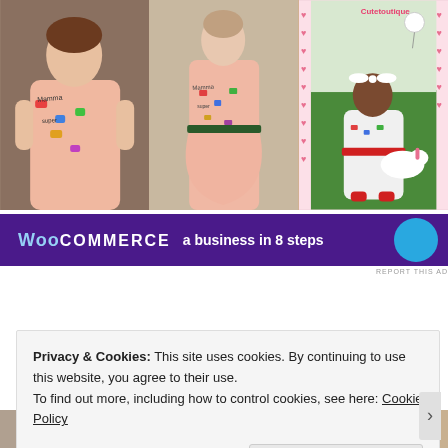[Figure (photo): Three photos side by side showing girls/women wearing pink floral printed dresses with illustrated patterns. Left: young girl in pink dress with colorful cartoon illustrations. Center: adult woman on runway in similar pink illustrated dress. Right: toddler in white/pink illustrated dress holding a toy unicorn, with pink heart border.]
[Figure (screenshot): WooCommerce advertisement banner: purple background with 'WooCommerce' logo text and 'a business in 8 steps' text with a blue circle graphic on the right.]
REPORT THIS AD
Privacy & Cookies: This site uses cookies. By continuing to use this website, you agree to their use.
To find out more, including how to control cookies, see here: Cookie Policy
Close and accept